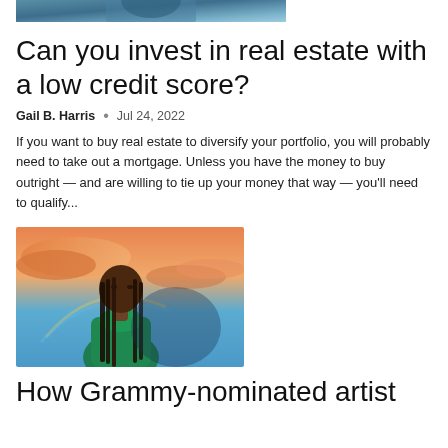[Figure (photo): Partial top of a photo of a person, cropped at the top of the page]
Can you invest in real estate with a low credit score?
Gail B. Harris • Jul 24, 2022
If you want to buy real estate to diversify your portfolio, you will probably need to take out a mortgage. Unless you have the money to buy outright — and are willing to tie up your money that way — you'll need to qualify...
[Figure (photo): Photo of a young woman with long braided hair wearing a green satin outfit, with a colorful sunset sky background]
How Grammy-nominated artist